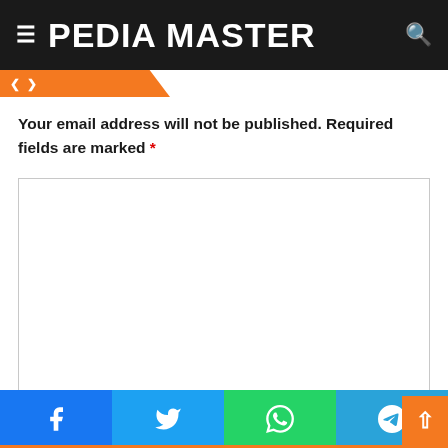PEDIA MASTER
Your email address will not be published. Required fields are marked *
[Figure (screenshot): Large comment text area input box with border]
Name *
[Figure (screenshot): Name input field]
[Figure (infographic): Social share bar with Facebook, Twitter, WhatsApp, and Telegram buttons]